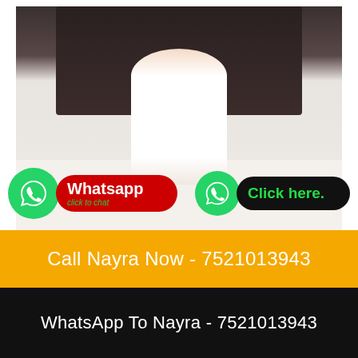[Figure (photo): Young woman in white dress sitting on a bed in a hotel room with a dark tufted headboard]
Whatsapp click to chat
Click here.
Call Nayra Now - 7521013943
WhatsApp To Nayra - 7521013943